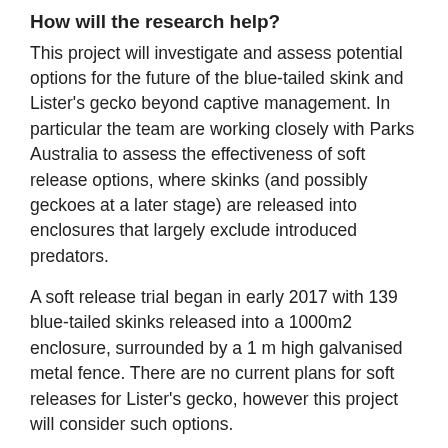How will the research help?
This project will investigate and assess potential options for the future of the blue-tailed skink and Lister's gecko beyond captive management. In particular the team are working closely with Parks Australia to assess the effectiveness of soft release options, where skinks (and possibly geckoes at a later stage) are released into enclosures that largely exclude introduced predators.
A soft release trial began in early 2017 with 139 blue-tailed skinks released into a 1000m2 enclosure, surrounded by a 1 m high galvanised metal fence. There are no current plans for soft releases for Lister's gecko, however this project will consider such options.
The objective of the soft release is to assess whether blue-tailed skinks can survive and establish a functioning self-sustaining population with minimal intervention from people, if introduced predators are controlled. If it is successful, it would allow more skinks to be reintroduced to Christmas Island ecosystems, and would be a major